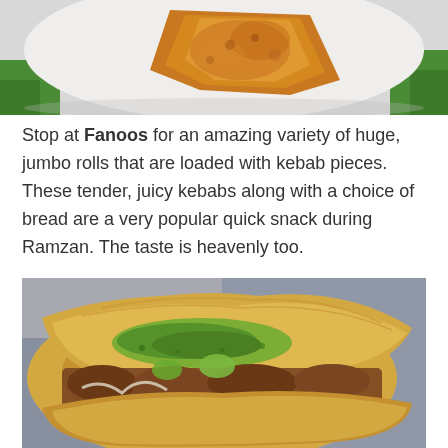[Figure (photo): Close-up photo of fried snack food on a white plate with green fabric/napkin visible]
Stop at Fanoos for an amazing variety of huge, jumbo rolls that are loaded with kebab pieces. These tender, juicy kebabs along with a choice of bread are a very popular quick snack during Ramzan. The taste is heavenly too.
[Figure (photo): Close-up photo of a jumbo kebab roll/sandwich stuffed with meat, vegetables, herbs and sauces]